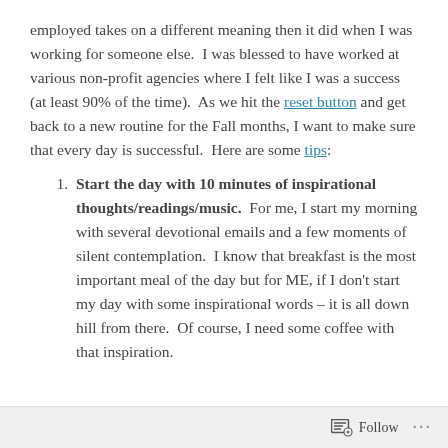employed takes on a different meaning then it did when I was working for someone else.  I was blessed to have worked at various non-profit agencies where I felt like I was a success (at least 90% of the time).  As we hit the reset button and get back to a new routine for the Fall months, I want to make sure that every day is successful.  Here are some tips:
Start the day with 10 minutes of inspirational thoughts/readings/music.  For me, I start my morning with several devotional emails and a few moments of silent contemplation.  I know that breakfast is the most important meal of the day but for ME, if I don't start my day with some inspirational words – it is all down hill from there.  Of course, I need some coffee with that inspiration.
Follow ···